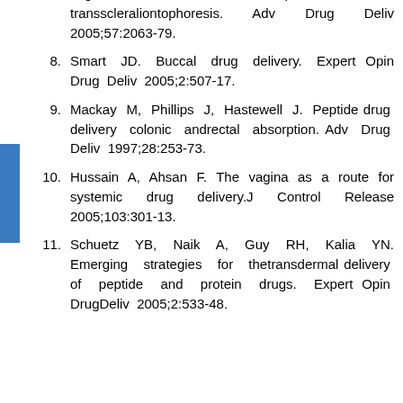(continuation) segment disease: Emphasis on transscleraliontophoresis. Adv Drug Deliv 2005;57:2063-79.
8. Smart JD. Buccal drug delivery. Expert Opin Drug Deliv 2005;2:507-17.
9. Mackay M, Phillips J, Hastewell J. Peptide drug delivery colonic andrectal absorption. Adv Drug Deliv 1997;28:253-73.
10. Hussain A, Ahsan F. The vagina as a route for systemic drug delivery.J Control Release 2005;103:301-13.
11. Schuetz YB, Naik A, Guy RH, Kalia YN. Emerging strategies for thetransdermal delivery of peptide and protein drugs. Expert Opin DrugDeliv 2005;2:533-48.